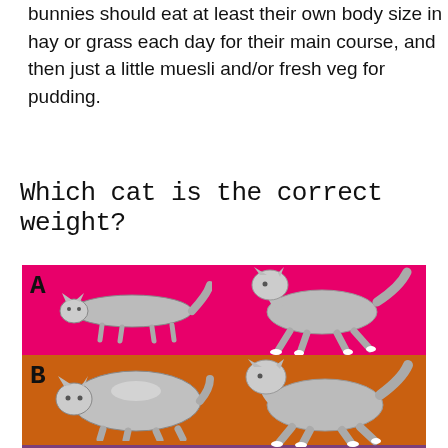bunnies should eat at least their own body size in hay or grass each day for their main course, and then just a little muesli and/or fresh veg for pudding.
Which cat is the correct weight?
[Figure (infographic): Three rows (A, B, C) with colored backgrounds — A in pink/magenta, B in orange, C in purple — each showing two cat silhouettes side by side: one viewed from behind (round or elongated body) and one walking cat in profile. Row A shows a very thin elongated cat (underweight) and a slim walking cat. Row B shows a very round/obese cat from behind and a slightly heavier walking cat. Row C is partially visible with a purple background.]